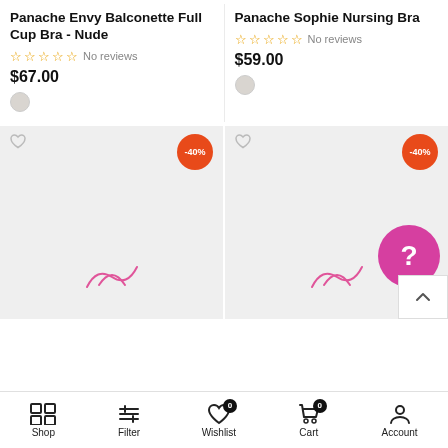Panache Envy Balconette Full Cup Bra - Nude
No reviews
$67.00
Panache Sophie Nursing Bra
No reviews
$59.00
[Figure (screenshot): Two product image placeholder tiles with heart/wishlist icons, -40% orange discount badges, loading spinner SVG icons, a pink help button, and a back-to-top arrow button]
Shop  Filter  Wishlist 0  Cart 0  Account